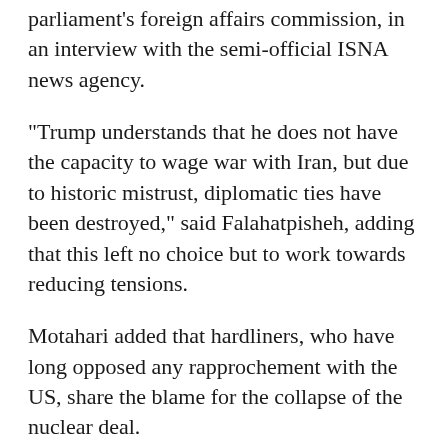parliament's foreign affairs commission, in an interview with the semi-official ISNA news agency.
"Trump understands that he does not have the capacity to wage war with Iran, but due to historic mistrust, diplomatic ties have been destroyed," said Falahatpisheh, adding that this left no choice but to work towards reducing tensions.
Motahari added that hardliners, who have long opposed any rapprochement with the US, share the blame for the collapse of the nuclear deal.
"If the whole Iranian system had worked to implement this agreement, today we would be witnessing the presence of European companies in Iran and their investments, and even Trump would not be able to withdraw so easily from the deal," he